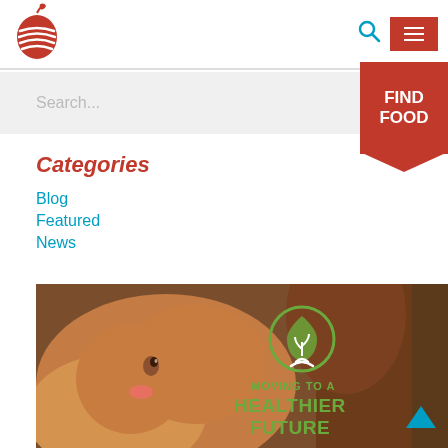[Figure (logo): Red striped apple logo in the header]
Search...
FIND FOOD
Categories
Blog
Featured
News
[Figure (photo): A young baby being fed food, smiling, with an overlay that reads MOVING TO A HEALTHIER FUTURE with a green plant-in-droplet logo]